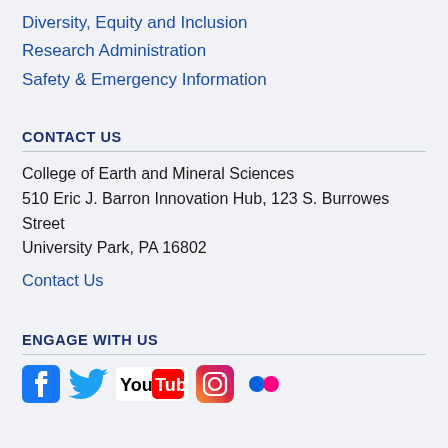Diversity, Equity and Inclusion
Research Administration
Safety & Emergency Information
CONTACT US
College of Earth and Mineral Sciences
510 Eric J. Barron Innovation Hub, 123 S. Burrowes Street
University Park, PA 16802
Contact Us
ENGAGE WITH US
[Figure (logo): Social media icons: Facebook, Twitter, YouTube, Instagram, Flickr]